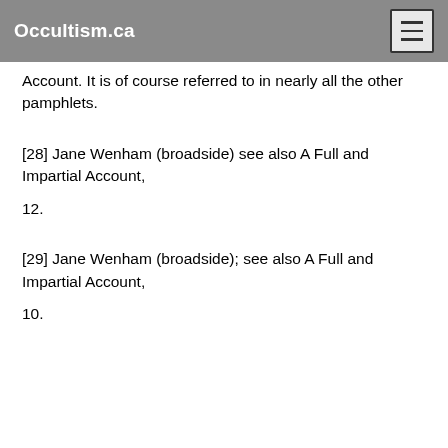Occultism.ca
Account. It is of course referred to in nearly all the other pamphlets.
[28] Jane Wenham (broadside) see also A Full and Impartial Account,
12.
[29] Jane Wenham (broadside); see also A Full and Impartial Account,
10.